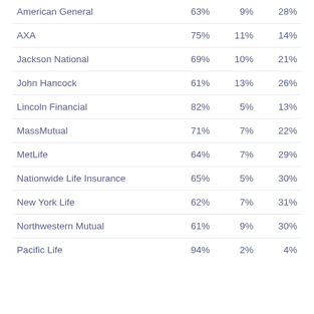| American General | 63% | 9% | 28% |
| AXA | 75% | 11% | 14% |
| Jackson National | 69% | 10% | 21% |
| John Hancock | 61% | 13% | 26% |
| Lincoln Financial | 82% | 5% | 13% |
| MassMutual | 71% | 7% | 22% |
| MetLife | 64% | 7% | 29% |
| Nationwide Life Insurance | 65% | 5% | 30% |
| New York Life | 62% | 7% | 31% |
| Northwestern Mutual | 61% | 9% | 30% |
| Pacific Life | 94% | 2% | 4% |